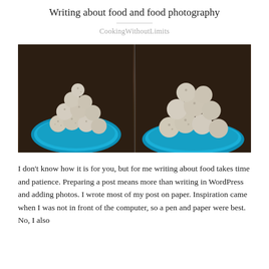Writing about food and food photography
CookingWithoutLimits
[Figure (photo): Two food photographs side by side showing coconut-dusted chocolate truffles/balls piled on blue ceramic plates, on a dark wooden surface. Left photo shows a full pile, right photo shows a closer crop. Both have watermark text in top corners.]
I don't know how it is for you, but for me writing about food takes time and patience. Preparing a post means more than writing in WordPress and adding photos. I wrote most of my post on paper. Inspiration came when I was not in front of the computer, so a pen and paper were best. No, I also